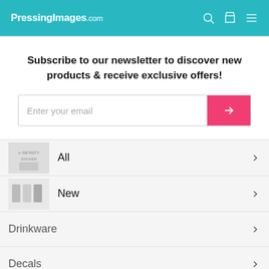PressingImages.com
Subscribe to our newsletter to discover new products & receive exclusive offers!
Enter your email
All
New
Drinkware
Decals